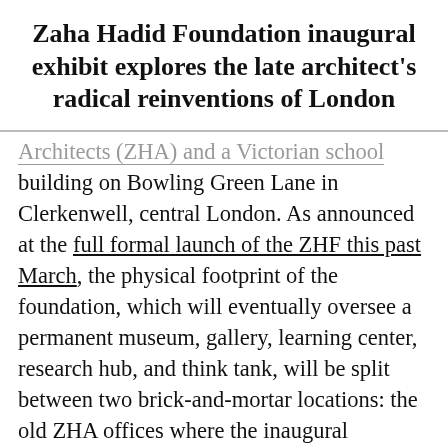Zaha Hadid Foundation inaugural exhibit explores the late architect's radical reinventions of London
Architects (ZHA) and a Victorian school building on Bowling Green Lane in Clerkenwell, central London. As announced at the full formal launch of the ZHF this past March, the physical footprint of the foundation, which will eventually oversee a permanent museum, gallery, learning center, research hub, and think tank, will be split between two brick-and-mortar locations: the old ZHA offices where the inaugural exhibition will be on view (the firm decamped this past summer